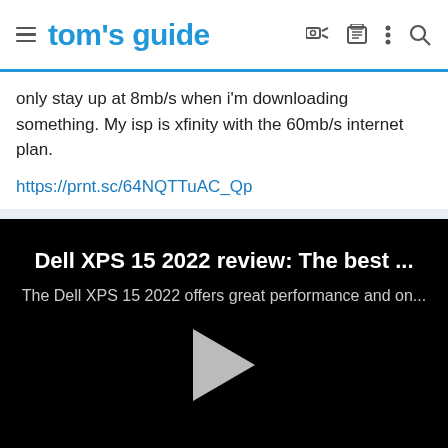tom's guide
only stay up at 8mb/s when i'm downloading something. My isp is xfinity with the 60mb/s internet plan.
https://prnt.sc/64NQTTuAC_Qp
[Figure (screenshot): Video embed for 'Dell XPS 15 2022 review: The best ...' with subtitle 'The Dell XPS 15 2022 offers great performance and on...' and a play button on black background]